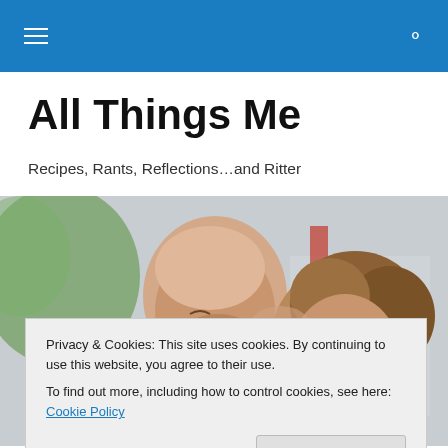Navigation bar with hamburger menu and search icon
All Things Me
Recipes, Rants, Reflections…and Ritter
[Figure (photo): A couple embracing; a bald man rests his cheek on the head of a woman with curly hair, both eyes closed, outdoors with blurred greenery background.]
Privacy & Cookies: This site uses cookies. By continuing to use this website, you agree to their use.
To find out more, including how to control cookies, see here: Cookie Policy
Close and accept
GALLERY